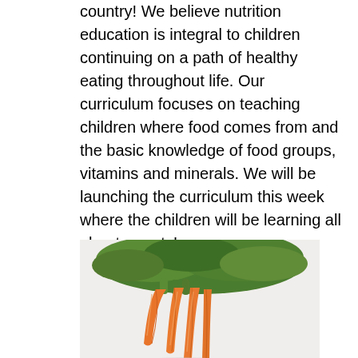country! We believe nutrition education is integral to children continuing on a path of healthy eating throughout life. Our curriculum focuses on teaching children where food comes from and the basic knowledge of food groups, vitamins and minerals. We will be launching the curriculum this week where the children will be learning all about carrots!
[Figure (photo): A bunch of fresh carrots with green leafy tops against a white background]